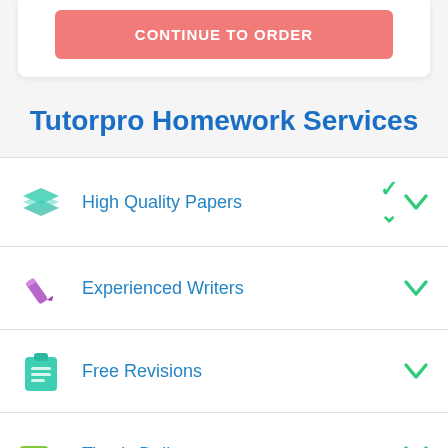[Figure (screenshot): Continue to Order button (salmon/pink rounded rectangle) at top of page]
Tutorpro Homework Services
High Quality Papers
Experienced Writers
Free Revisions
Timely Delivery